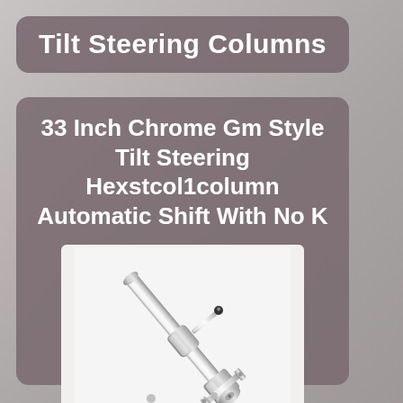Tilt Steering Columns
33 Inch Chrome Gm Style Tilt Steering Hexstcol1column Automatic Shift With No K
[Figure (photo): Chrome GM style tilt steering column with automatic shift, shown diagonally against a white background. The column is shiny chrome-finished with various mechanical components including the tilt mechanism, turn signal arm, and shift indicator.]